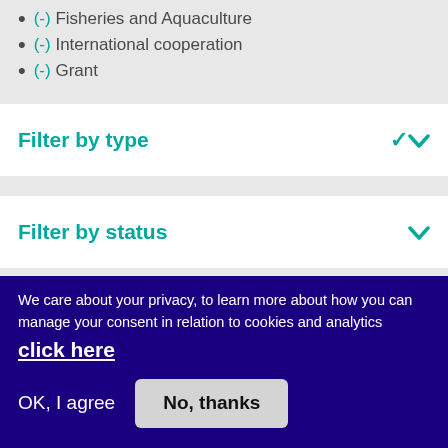(-) Fisheries and Aquaculture
(-) International cooperation
(-) Grant
Filter by type
Filter by status
Filter by segment
We care about your privacy, to learn more about how you can manage your consent in relation to cookies and analytics click here
OK, I agree
No, thanks